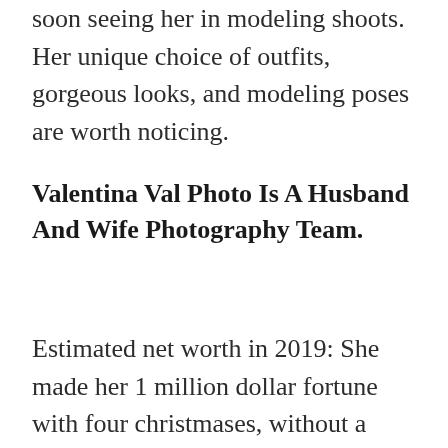soon seeing her in modeling shoots. Her unique choice of outfits, gorgeous looks, and modeling poses are worth noticing.
Valentina Val Photo Is A Husband And Wife Photography Team.
Estimated net worth in 2019: She made her 1 million dollar fortune with four christmases, without a trace, tour of duty. Kayla blake (33) was charged with felony terrorizing after she confessed to calling in two